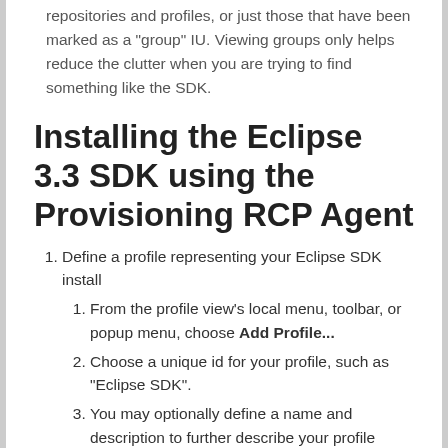You can control whether you view all IUs in the repositories and profiles, or just those that have been marked as a "group" IU. Viewing groups only helps reduce the clutter when you are trying to find something like the SDK.
Installing the Eclipse 3.3 SDK using the Provisioning RCP Agent
Define a profile representing your Eclipse SDK install
From the profile view's local menu, toolbar, or popup menu, choose Add Profile...
Choose a unique id for your profile, such as "Eclipse SDK".
You may optionally define a name and description to further describe your profile
Choose an install folder for the profile (this is where the SDK will be installed)